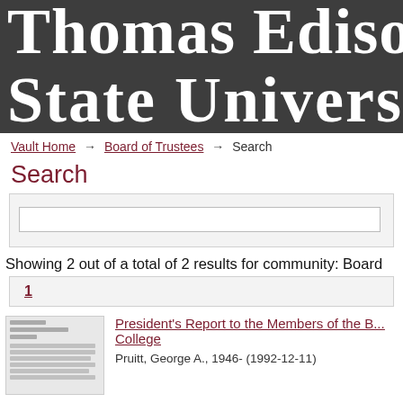[Figure (logo): Thomas Edison State University header banner with white text on dark gray background, partially cropped on the right]
Vault Home → Board of Trustees → Search
Search
[Figure (screenshot): Search input box on light gray background]
Showing 2 out of a total of 2 results for community: Board
1
[Figure (photo): Thumbnail image of President's Report document]
President's Report to the Members of the B... College
Pruitt, George A., 1946- (1992-12-11)